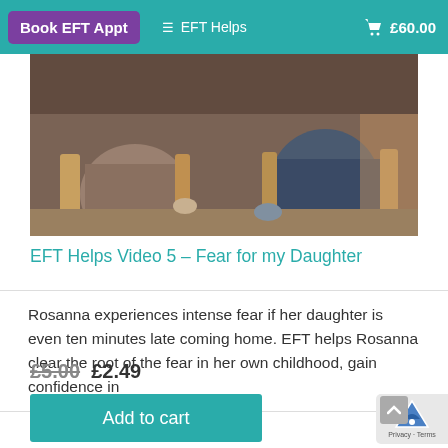Book EFT Appt  ≡ EFT Helps  🛒 £60.00
[Figure (photo): Two people sitting in wicker chairs, visible from the torso down, in a consultation or therapy setting]
EFT Helps Video 5 – Fear for my Daughter
Rosanna experiences intense fear if her daughter is even ten minutes late coming home. EFT helps Rosanna clear the root of the fear in her own childhood, gain confidence in
£5.00  £2.49
Add to cart